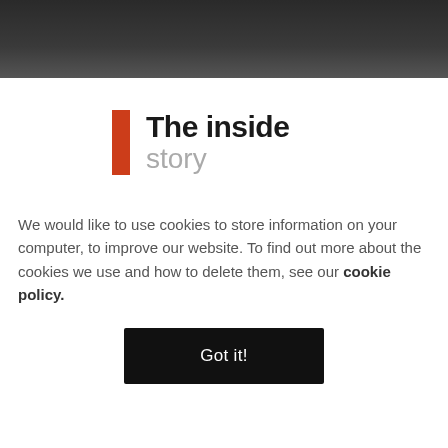[Figure (logo): The inside story logo — orange vertical bar with 'The inside' in bold dark text and 'story' in light gray below]
We would like to use cookies to store information on your computer, to improve our website. To find out more about the cookies we use and how to delete them, see our cookie policy.
Got it!